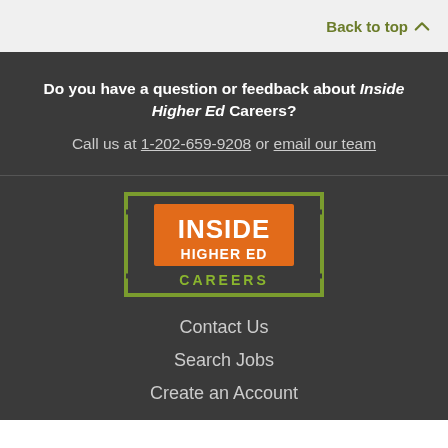Back to top
Do you have a question or feedback about Inside Higher Ed Careers?
Call us at 1-202-659-9208 or email our team
[Figure (logo): Inside Higher Ed Careers logo: orange rectangle with white text INSIDE HIGHER ED, green outline bracket frame, green text CAREERS below]
Contact Us
Search Jobs
Create an Account